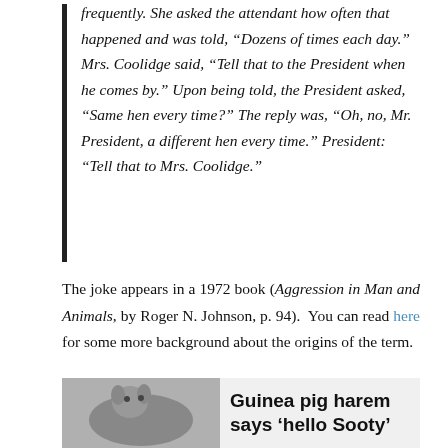frequently. She asked the attendant how often that happened and was told, “Dozens of times each day.” Mrs. Coolidge said, “Tell that to the President when he comes by.” Upon being told, the President asked, “Same hen every time?” The reply was, “Oh, no, Mr. President, a different hen every time.” President: “Tell that to Mrs. Coolidge.”
The joke appears in a 1972 book (Aggression in Man and Animals, by Roger N. Johnson, p. 94). You can read here for some more background about the origins of the term.
[Figure (photo): A photo of a guinea pig on the left side, with a newspaper headline on the right reading: Guinea pig harem says ‘hello Sooty’]